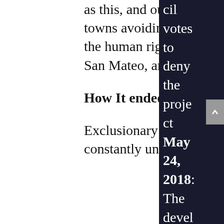as this, and our previous cases in suburban towns avoiding their responsibilities to provide the human right to housing such as Sausalito, San Mateo, and Berkeley.
How It ended
Exclusionary suburbs with good public transit constantly undermine
cil votes to deny the project May 24, 2018: The developer files suit, claiming ng